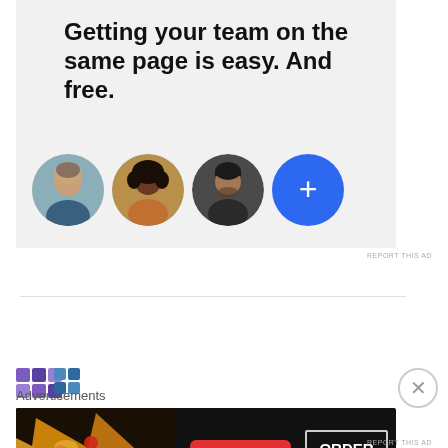[Figure (infographic): Advertisement banner with light gray background showing text 'Getting your team on the same page is easy. And free.' with three circular profile photo avatars and a blue plus button circle]
REPORT THIS AD
[Figure (logo): Decorative purple/blue mosaic tile logo]
Advertisements
[Figure (infographic): Seamless food delivery advertisement on dark background with pizza image, Seamless red badge logo, and ORDER NOW button]